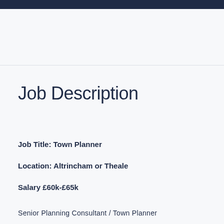Job Description
Job Title: Town Planner
Location: Altrincham or Theale
Salary £60k-£65k
Senior Planning Consultant / Town Planner